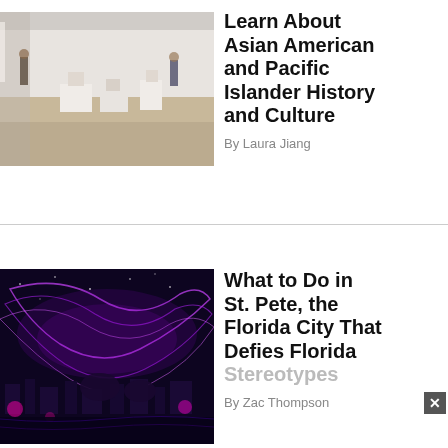[Figure (photo): Interior of a museum gallery with white walls, wooden floor, and white display pedestals. A few people visible in the background.]
Learn About Asian American and Pacific Islander History and Culture
By Laura Jiang
[Figure (photo): Night cityscape with dramatic purple and pink light installation or aurora-like light art over a city skyline with trees and buildings.]
What to Do in St. Pete, the Florida City That Defies Florida Stereotypes
By Zac Thompson